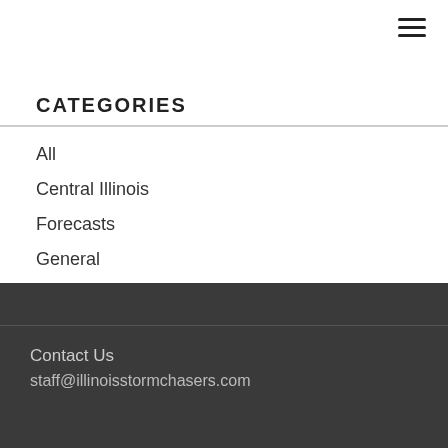CATEGORIES
All
Central Illinois
Forecasts
General
Northern Illinois
Recaps
Southern Illinois
RSS Feed
Contact Us
staff@illinoisstormchasers.com